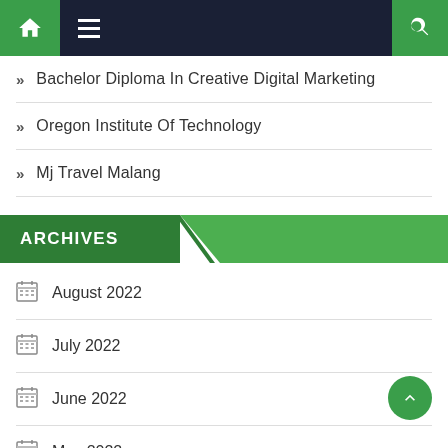Navigation bar with home, menu, and search icons
Bachelor Diploma In Creative Digital Marketing
Oregon Institute Of Technology
Mj Travel Malang
ARCHIVES
August 2022
July 2022
June 2022
May 2022